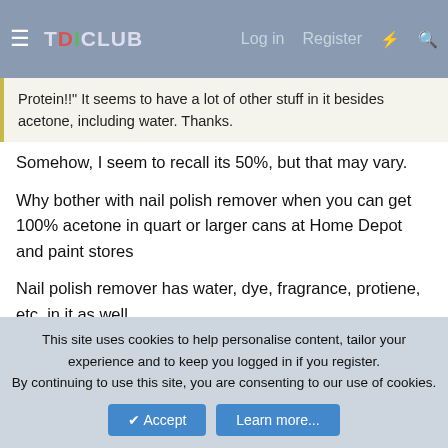TDICLUB | Log in | Register
Protein!!" It seems to have a lot of other stuff in it besides acetone, including water. Thanks.
Somehow, I seem to recall its 50%, but that may vary.
Why bother with nail polish remover when you can get 100% acetone in quart or larger cans at Home Depot and paint stores
Nail polish remover has water, dye, fragrance, protiene, etc. in it as well.
--Nate
JetWag03
This site uses cookies to help personalise content, tailor your experience and to keep you logged in if you register.
By continuing to use this site, you are consenting to our use of cookies.